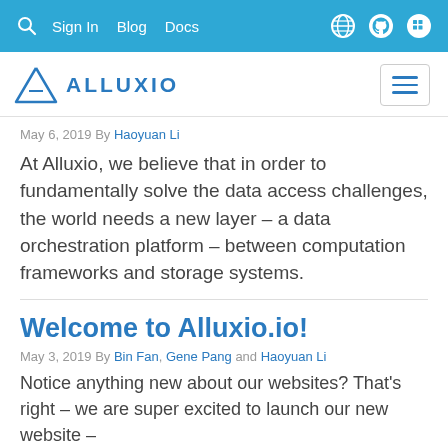Sign In  Blog  Docs
[Figure (logo): Alluxio logo with triangle icon and text ALLUXIO]
May 6, 2019 By Haoyuan Li
At Alluxio, we believe that in order to fundamentally solve the data access challenges, the world needs a new layer – a data orchestration platform – between computation frameworks and storage systems.
Welcome to Alluxio.io!
May 3, 2019 By Bin Fan, Gene Pang and Haoyuan Li
Notice anything new about our websites? That's right – we are super excited to launch our new website –